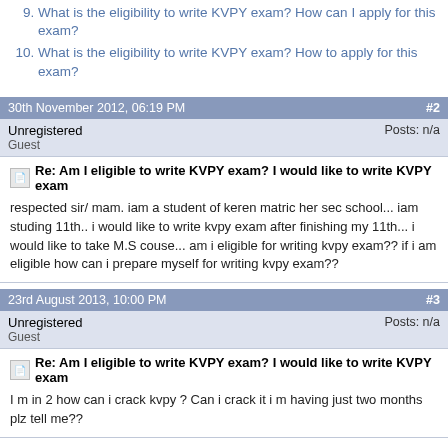9. What is the eligibility to write KVPY exam? How can I apply for this exam?
10. What is the eligibility to write KVPY exam? How to apply for this exam?
30th November 2012, 06:19 PM  #2
Unregistered  Posts: n/a  Guest
Re: Am I eligible to write KVPY exam? I would like to write KVPY exam
respected sir/ mam. iam a student of keren matric her sec school... iam studing 11th.. i would like to write kvpy exam after finishing my 11th... i would like to take M.S couse... am i eligible for writing kvpy exam?? if i am eligible how can i prepare myself for writing kvpy exam??
23rd August 2013, 10:00 PM  #3
Unregistered  Posts: n/a  Guest
Re: Am I eligible to write KVPY exam? I would like to write KVPY exam
I m in 2 how can i crack kvpy ? Can i crack it i m having just two months plz tell me??